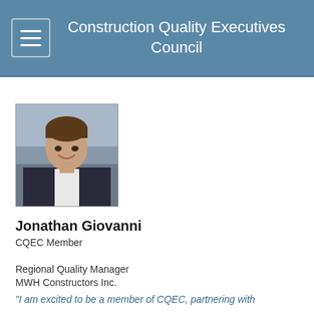Construction Quality Executives Council
[Figure (photo): Professional headshot of Jonathan Giovanni, a smiling man in a dark suit with white shirt, outdoors background]
Jonathan Giovanni
CQEC Member
Regional Quality Manager
MWH Constructors Inc.
"I am excited to be a member of CQEC, partnering with